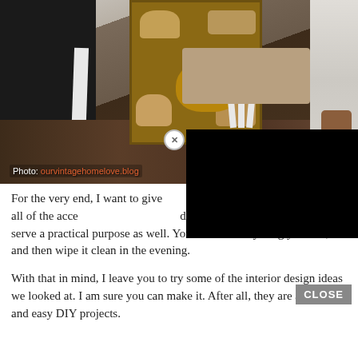[Figure (photo): Interior room photo showing a vintage/rustic style dining or kitchen area with dark hardwood floors, a black chalkboard wall panel, white baseboard trim, a wooden shelving unit with baskets and bottles, a white decorative chair, a wooden table, curtains, and a potted plant. Photo credit: ourvintagehomeloveblog]
Photo: ourvintagehomeloveblog
For the very end, I want to give [text obscured by overlay] treatment. While all of the acce[ssories serve a] decorative purpose, this one can serve a practical purpose as well. You can write anything you like, and then wipe it clean in the evening.
With that in mind, I leave you to try some of the interior design ideas we looked at. I am sure you can make it. After all, they are all simple and easy DIY projects.